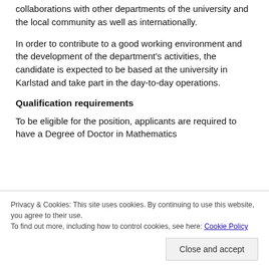collaborations with other departments of the university and the local community as well as internationally.
In order to contribute to a good working environment and the development of the department's activities, the candidate is expected to be based at the university in Karlstad and take part in the day-to-day operations.
Qualification requirements
To be eligible for the position, applicants are required to have a Degree of Doctor in Mathematics
Privacy & Cookies: This site uses cookies. By continuing to use this website, you agree to their use.
To find out more, including how to control cookies, see here: Cookie Policy